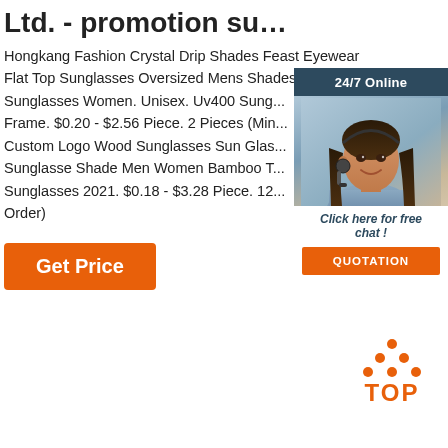Ltd. - promotion sunglasses ...
Hongkang Fashion Crystal Drip Shades Feast Eyewear Flat Top Sunglasses Oversized Mens Shades Sunglasses Women. Unisex. Uv400 Sung... Frame. $0.20 - $2.56 Piece. 2 Pieces (Min... Custom Logo Wood Sunglasses Sun Glas... Sunglasse Shade Men Women Bamboo T... Sunglasses 2021. $0.18 - $3.28 Piece. 12... Order)
[Figure (photo): Customer service representative widget with '24/7 Online' header, photo of woman with headset, 'Click here for free chat!' text, and orange QUOTATION button]
Get Price
[Figure (logo): Orange TOP logo with dots arranged in a triangle above the word TOP]